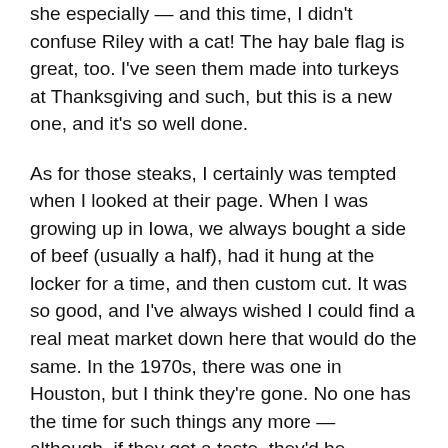she especially — and this time, I didn't confuse Riley with a cat! The hay bale flag is great, too. I've seen them made into turkeys at Thanksgiving and such, but this is a new one, and it's so well done.
As for those steaks, I certainly was tempted when I looked at their page. When I was growing up in Iowa, we always bought a side of beef (usually a half), had it hung at the locker for a time, and then custom cut. It was so good, and I've always wished I could find a real meat market down here that would do the same. In the 1970s, there was one in Houston, but I think they're gone. No one has the time for such things any more — although, if they got a taste, they'd be clamoring for it.